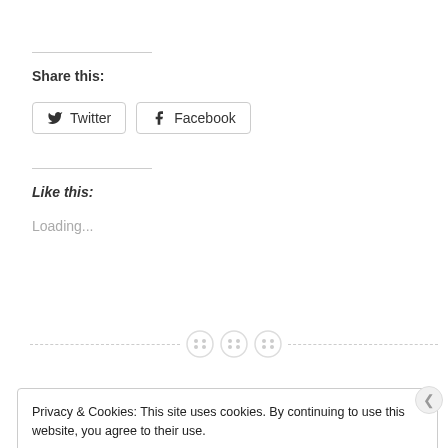Share this:
Twitter
Facebook
Like this:
Loading...
Privacy & Cookies: This site uses cookies. By continuing to use this website, you agree to their use.
To find out more, including how to control cookies, see here: Cookie Policy
Close and accept